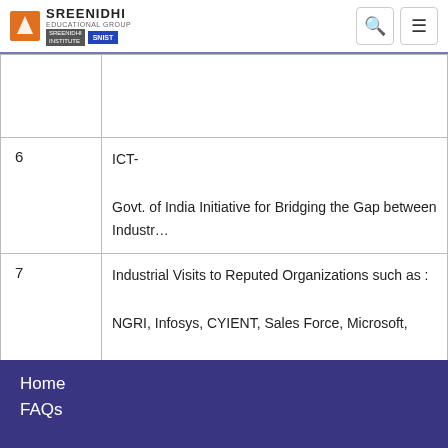SREENIDHI EDUCATIONAL GROUP | SNIST | GNIST
| # | Description |
| --- | --- |
|  |  |
| 6 | ICT-
Govt. of India Initiative for Bridging the Gap between Industr... |
| 7 | Industrial Visits to Reputed Organizations such as :
NGRI, Infosys, CYIENT, Sales Force, Microsoft,
Zen Technologies, INCOIS, GIT etc. |
| 8 | Smart Bridge educational Services, Hyderabad |
Home
FAQs